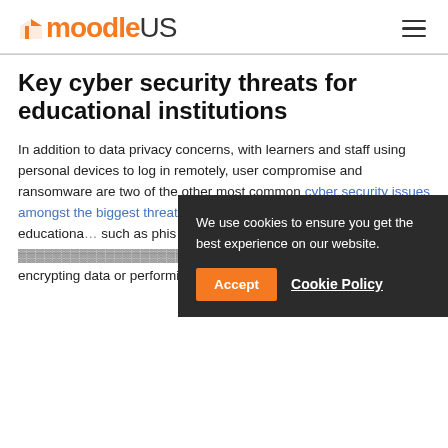moodleUS
Key cyber security threats for educational institutions
In addition to data privacy concerns, with learners and staff using personal devices to log in remotely, user compromise and ransomware are two of the other most common cyber security issues amongst the biggest threats for higher education pr... at educationa... such as phis... private data a... enabling mu... encrypting data or performing regular backups
We use cookies to ensure you get the best experience on our website.
Accept   Cookie Policy